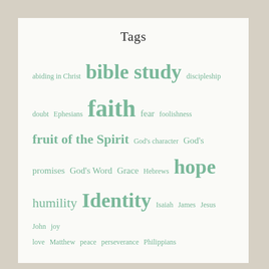Tags
abiding in Christ bible study discipleship doubt Ephesians faith fear foolishness fruit of the Spirit God's character God's promises God's Word Grace Hebrews hope humility Identity Isaiah James Jesus John joy love Matthew peace perseverance Philippians prayer praying God's word pride